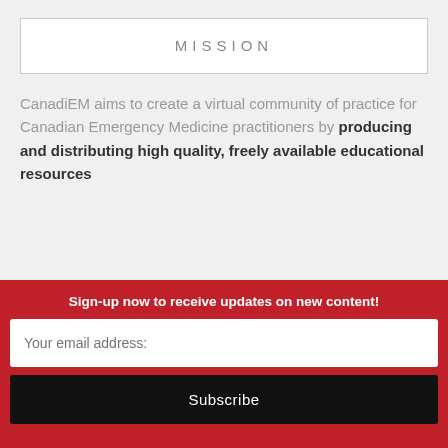MISSION
CanadiEM aims to create a virtual community of practice for Canadian Emergency Medicine practitioners by producing and distributing high quality, freely available educational resources
[Figure (other): Grey placeholder image block with a dark red dropdown arrow button on the right side and a partial blue bar visible at bottom right]
Sign-up now to receive updates on new content!
Your email address:
Subscribe